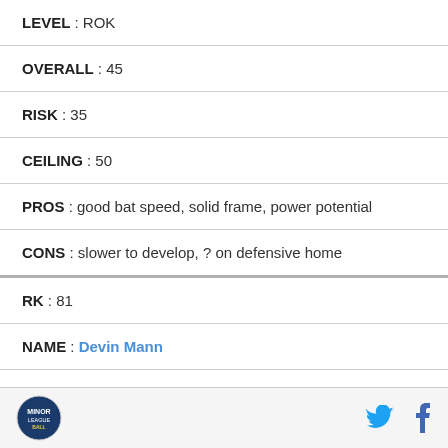LEVEL : ROK
OVERALL : 45
RISK : 35
CEILING : 50
PROS : good bat speed, solid frame, power potential
CONS : slower to develop, ? on defensive home
RK : 81
NAME : Devin Mann
POS : 2B/3B/SS
OD AGE : 22.02
LEVEL : LoA
Logo | Twitter | Facebook